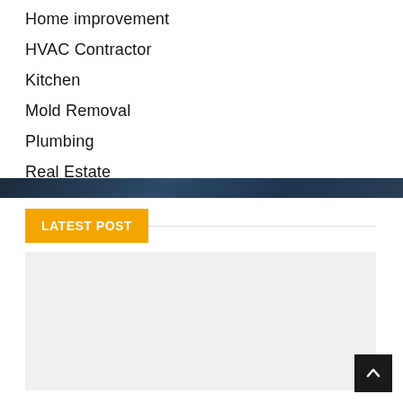Home improvement
HVAC Contractor
Kitchen
Mold Removal
Plumbing
Real Estate
LATEST POST
[Figure (other): Gray placeholder image block for latest post]